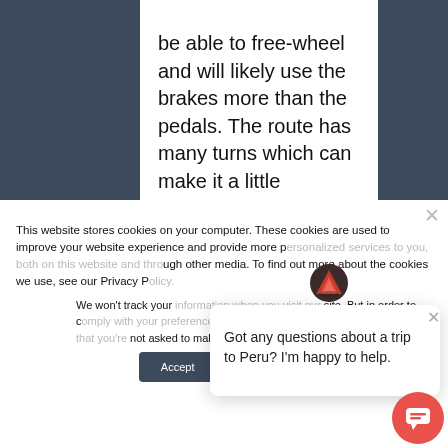be able to free-wheel and will likely use the brakes more than the pedals. The route has many turns which can make it a little dangerous. Cars on the route may not see you coming!
This website stores cookies on your computer. These cookies are used to improve your website experience and provide more personalized services to you, both on this website and through other media. To find out more about the cookies we use, see our Privacy Policy.
We won't track your information when you visit our site. But in order to comply with your preferences, we'll have to use just one tiny cookie so that you're not asked to make this choice again.
Got any questions about a trip to Peru? I'm happy to help.